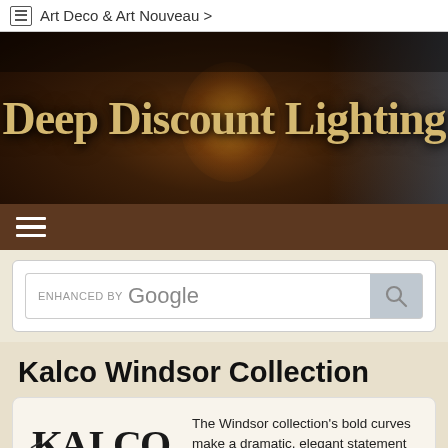Art Deco & Art Nouveau >
[Figure (logo): Deep Discount Lighting banner with dark background and glowing bulb image]
[Figure (other): Dark brown hamburger menu bar with three white horizontal lines]
[Figure (screenshot): Enhanced by Google search bar with magnifying glass icon]
Kalco Windsor Collection
[Figure (logo): Kalco logo with stylized text and curved underline]
The Windsor collection's bold curves make a dramatic, elegant statement with it's eclectic